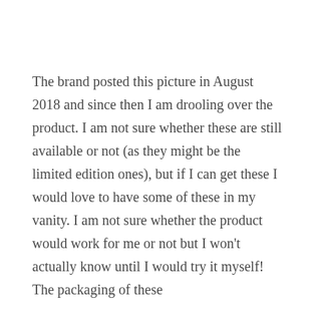The brand posted this picture in August 2018 and since then I am drooling over the product. I am not sure whether these are still available or not (as they might be the limited edition ones), but if I can get these I would love to have some of these in my vanity. I am not sure whether the product would work for me or not but I won't actually know until I would try it myself! The packaging of these